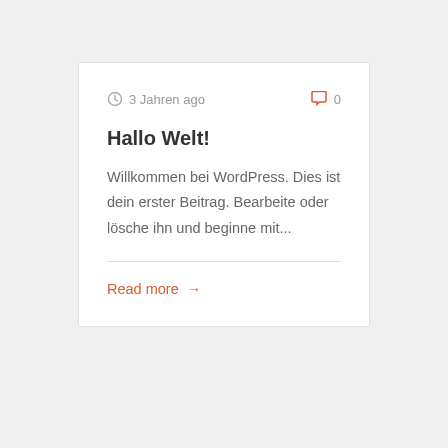3 Jahren ago   0
Hallo Welt!
Willkommen bei WordPress. Dies ist dein erster Beitrag. Bearbeite oder lösche ihn und beginne mit...
Read more →